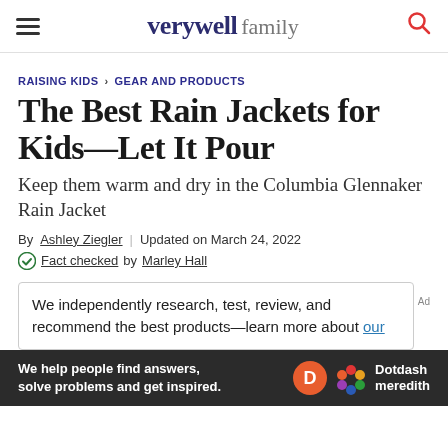verywell family
RAISING KIDS > GEAR AND PRODUCTS
The Best Rain Jackets for Kids—Let It Pour
Keep them warm and dry in the Columbia Glennaker Rain Jacket
By Ashley Ziegler | Updated on March 24, 2022
Fact checked by Marley Hall
We independently research, test, review, and recommend the best products—learn more about our
[Figure (logo): Dotdash Meredith advertisement banner with orange D logo and colorful flower logo, text: We help people find answers, solve problems and get inspired.]